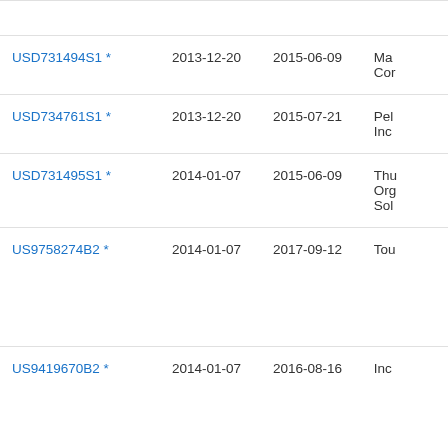| Patent Number | Filed Date | Grant Date | Assignee |
| --- | --- | --- | --- |
| USD731494S1 * | 2013-12-20 | 2015-06-09 | Ma... Cor... |
| USD734761S1 * | 2013-12-20 | 2015-07-21 | Pel... Inc... |
| USD731495S1 * | 2014-01-07 | 2015-06-09 | Thu... Org... Sol... |
| US9758274B2 * | 2014-01-07 | 2017-09-12 | Tou... |
| US9419670B2 * | 2014-01-07 | 2016-08-16 | Inc... |
| USD732542S1 * | 2014-01-07 | 2015-06-23 | Thu... |